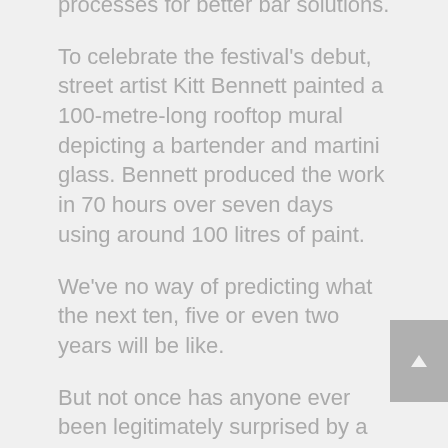who innovates design processes for better bar solutions.
To celebrate the festival's debut, street artist Kitt Bennett painted a 100-metre-long rooftop mural depicting a bartender and martini glass. Bennett produced the work in 70 hours over seven days using around 100 litres of paint.
We've no way of predicting what the next ten, five or even two years will be like.
But not once has anyone ever been legitimately surprised by a hangover.